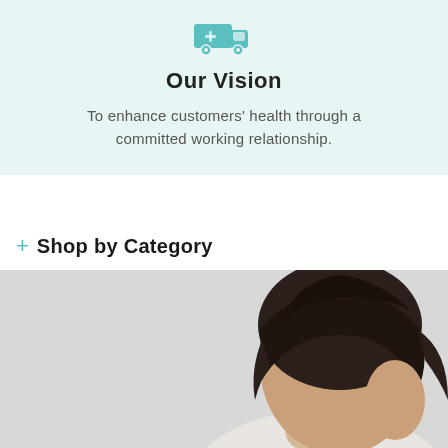[Figure (illustration): Teal/cyan delivery truck icon at the top of the vision section]
Our Vision
To enhance customers' health through a committed working relationship.
+ Shop by Category
[Figure (photo): Photo of a woman with dark brown hair, viewed from behind/side angle, on a light gray background]